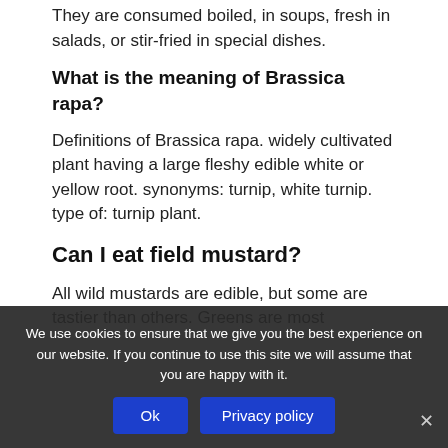They are consumed boiled, in soups, fresh in salads, or stir-fried in special dishes.
What is the meaning of Brassica rapa?
Definitions of Brassica rapa. widely cultivated plant having a large fleshy edible white or yellow root. synonyms: turnip, white turnip. type of: turnip plant.
Can I eat field mustard?
All wild mustards are edible, but some are tastier than others. Greens are most
We use cookies to ensure that we give you the best experience on our website. If you continue to use this site we will assume that you are happy with it.